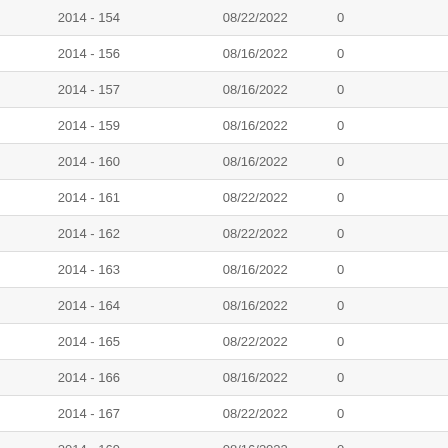| 2014 - 154 | 08/22/2022 | 0 |
| 2014 - 156 | 08/16/2022 | 0 |
| 2014 - 157 | 08/16/2022 | 0 |
| 2014 - 159 | 08/16/2022 | 0 |
| 2014 - 160 | 08/16/2022 | 0 |
| 2014 - 161 | 08/22/2022 | 0 |
| 2014 - 162 | 08/22/2022 | 0 |
| 2014 - 163 | 08/16/2022 | 0 |
| 2014 - 164 | 08/16/2022 | 0 |
| 2014 - 165 | 08/22/2022 | 0 |
| 2014 - 166 | 08/16/2022 | 0 |
| 2014 - 167 | 08/22/2022 | 0 |
| 2014 - 169 | 08/16/2022 | 0 |
| 2014 - 170 | 08/22/2022 | 0 |
| 2014 - 171 | 08/16/2022 | 0 |